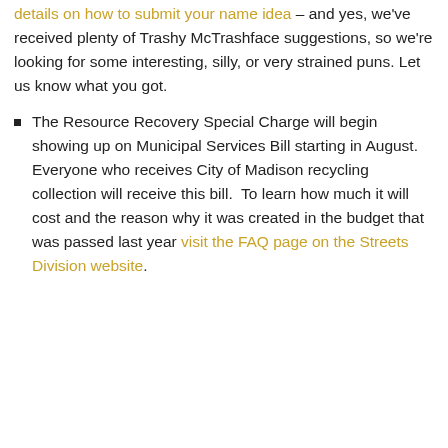details on how to submit your name idea – and yes, we've received plenty of Trashy McTrashface suggestions, so we're looking for some interesting, silly, or very strained puns. Let us know what you got.
The Resource Recovery Special Charge will begin showing up on Municipal Services Bill starting in August. Everyone who receives City of Madison recycling collection will receive this bill. To learn how much it will cost and the reason why it was created in the budget that was passed last year visit the FAQ page on the Streets Division website.